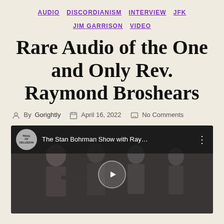AUDIO  DISCORDIANISM  INTERVIEW  JFK  JIM GARRISON  VIDEO
Rare Audio of the One and Only Rev. Raymond Broshears
By Gorightly  April 16, 2022  No Comments
[Figure (screenshot): YouTube video embed thumbnail showing 'The Stan Bohrman Show with Ray...' with a black and white photo of people in background and a play button in the center. The channel icon shows a circular logo with text 'TRAIL OF DELUSION'.]